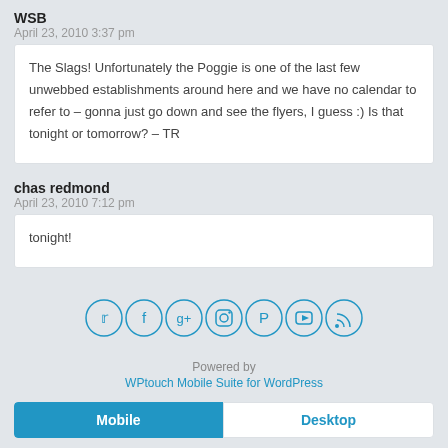WSB
April 23, 2010 3:37 pm
The Slags! Unfortunately the Poggie is one of the last few unwebbed establishments around here and we have no calendar to refer to – gonna just go down and see the flyers, I guess :) Is that tonight or tomorrow? – TR
chas redmond
April 23, 2010 7:12 pm
tonight!
[Figure (infographic): Social media icons in circles: Twitter, Facebook, Google+, Instagram, Pinterest, YouTube, RSS]
Powered by
WPtouch Mobile Suite for WordPress
Mobile  Desktop